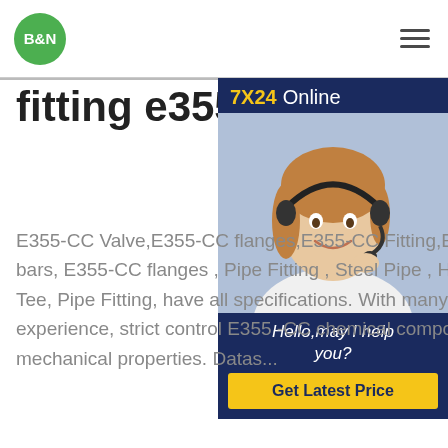B&N [logo] [hamburger menu]
fitting e355
[Figure (other): Customer service chat widget showing '7X24 Online' banner, photo of a smiling woman with headset, 'Hello,may I help you?' text, and 'Get Latest Price' button]
E355-CC Valve,E355-CC flanges,E355-CC Fitting,E355 …E355 -CC angle bars, E355-CC flanges , Pipe Fitting , Steel Pipe , Hea and Reducer, Gasket, Tee, Pipe Fitting, have all specifications. With many yeas production experience, strict control E355 -CC chemical composition and E355 -CC mechanical properties. Datas...